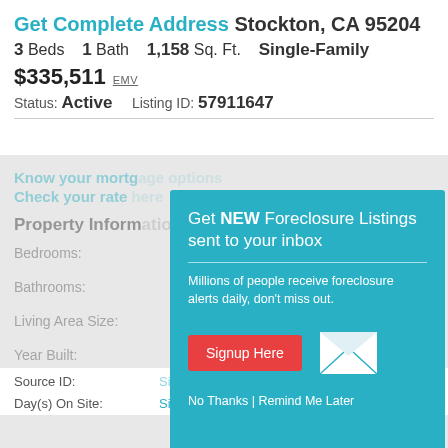Get Complete Address Stockton, CA 95204
3 Beds  1 Bath  1,158 Sq. Ft.  Single-Family
$335,511 EMV
Status: Active   Listing ID: 57911647
Know your mortgage options
Check your rate here
Property Information
Bedrooms:
Bathrooms:
Living Area Size:
Year Built:
Source ID:
Day(s) On Site:   Sign in to view
[Figure (screenshot): Modal popup overlay on a real estate listing page with teal background. Contains heading 'Get NEW Foreclosure Listings sent to your inbox', description text 'Millions of people receive foreclosure alerts daily, don't miss out.', a red 'Signup Here' button, an envelope icon, and links 'No Thanks | Remind Me Later'.]